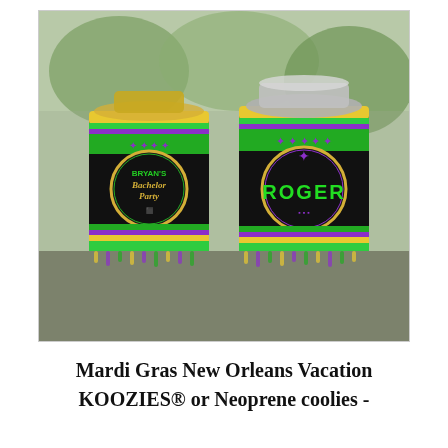[Figure (photo): Two Mardi Gras-themed drink koozies (can insulators) decorated in green, purple, and gold/yellow colors with fleur-de-lis designs. The left koozie reads 'Bryan's Bachelor Party' and the right one reads 'ROGER'. Both are sitting outdoors with trees in the background.]
Mardi Gras New Orleans Vacation KOOZIES® or Neoprene coolies -